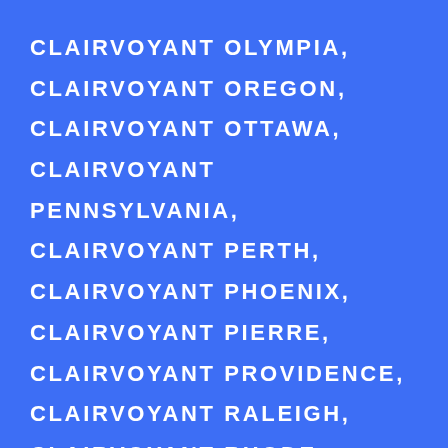CLAIRVOYANT OLYMPIA, CLAIRVOYANT OREGON, CLAIRVOYANT OTTAWA, CLAIRVOYANT PENNSYLVANIA, CLAIRVOYANT PERTH, CLAIRVOYANT PHOENIX, CLAIRVOYANT PIERRE, CLAIRVOYANT PROVIDENCE, CLAIRVOYANT RALEIGH, CLAIRVOYANT RHODE ISLAND, CLAIRVOYANT RICHMOND, CLAIRVOYANT SACRAMENTO, CLAIRVOYANT SALEM, CLAIRVOYANT SALT LAKE CITY, CLAIRVOYANT SAN ANTONIO, CLAIRVOYANT SAN DIEGO, CLAIRVOYANT SAN